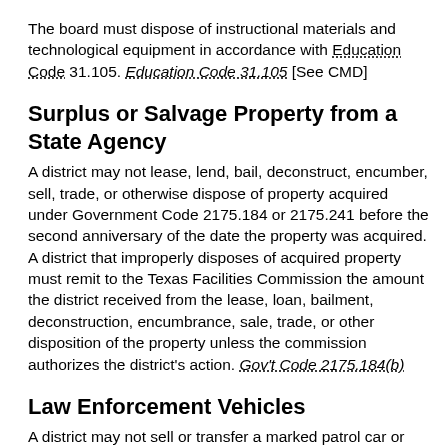The board must dispose of instructional materials and technological equipment in accordance with Education Code 31.105. Education Code 31.105 [See CMD]
Surplus or Salvage Property from a State Agency
A district may not lease, lend, bail, deconstruct, encumber, sell, trade, or otherwise dispose of property acquired under Government Code 2175.184 or 2175.241 before the second anniversary of the date the property was acquired. A district that improperly disposes of acquired property must remit to the Texas Facilities Commission the amount the district received from the lease, loan, bailment, deconstruction, encumbrance, sale, trade, or other disposition of the property unless the commission authorizes the district's action. Gov't Code 2175.184(b)
Law Enforcement Vehicles
A district may not sell or transfer a marked patrol car or other law enforcement motor vehicle to: